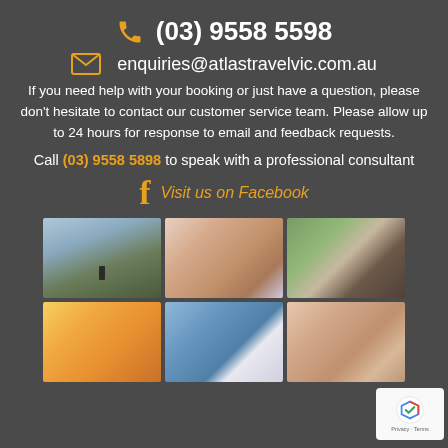(03) 9558 5598
enquiries@atlastravelvic.com.au
If you need help with your booking or just have a question, please don't hesitate to contact our customer service team. Please allow up to 24 hours for response to email and feedback requests.
Call (03) 9558 5898 to speak with a professional consultant
Visit us on Facebook
[Figure (photo): Six photo thumbnails in a 3x2 grid: person on mountain rocks, happy family selfie, woman with phone, woman in sunlight, sailboat on water, food dish]
[Figure (logo): reCAPTCHA badge with Privacy and Terms text]